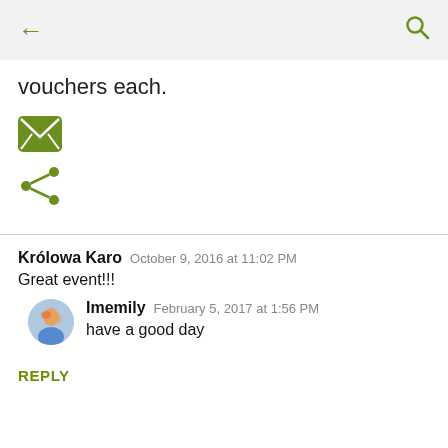← [back arrow] [search icon]
vouchers each.
[Figure (illustration): Green envelope/email icon]
[Figure (illustration): Green share icon]
Królowa Karo  October 9, 2016 at 11:02 PM
Great event!!!
Imemily  February 5, 2017 at 1:56 PM
have a good day
REPLY